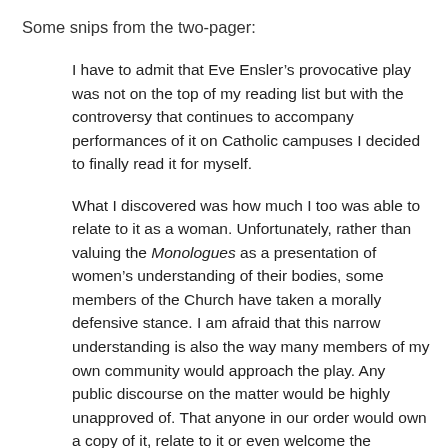Some snips from the two-pager:
I have to admit that Eve Ensler’s provocative play was not on the top of my reading list but with the controversy that continues to accompany performances of it on Catholic campuses I decided to finally read it for myself.
What I discovered was how much I too was able to relate to it as a woman. Unfortunately, rather than valuing the Monologues as a presentation of women’s understanding of their bodies, some members of the Church have taken a morally defensive stance. I am afraid that this narrow understanding is also the way many members of my own community would approach the play. Any public discourse on the matter would be highly unapproved of. That anyone in our order would own a copy of it, relate to it or even welcome the experiences and insight of the women contained in The Vagina Monologues would be deemed inappropriate, too worldly, beneath the surface of…